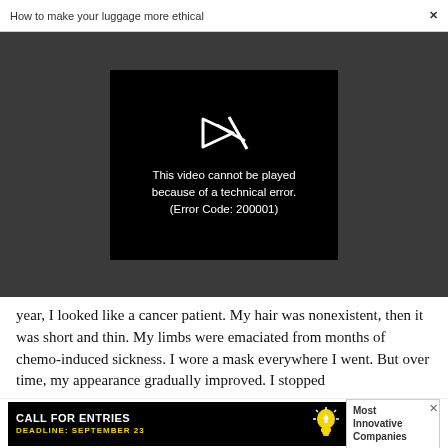How to make your luggage more ethical  ×
[Figure (screenshot): Video player showing error: 'This video cannot be played because of a technical error. (Error Code: 200001)' on a black background within a dark grey video player area.]
year, I looked like a cancer patient. My hair was nonexistent, then it was short and thin. My limbs were emaciated from months of chemo-induced sickness. I wore a mask everywhere I went. But over time, my appearance gradually improved. I stopped
[Figure (screenshot): Advertisement banner: 'CALL FOR ENTRIES DEADLINE: SEPTEMBER 23' with lightbulb icon and 'Most Innovative Companies' text.]